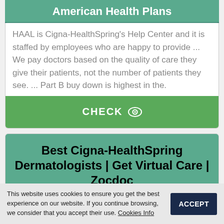American Health Plans
HAAL is Cigna-HealthSpring's Help Center and it is staffed by employees who are happy to provide ... We pay doctors based on the quality of care they give their patients, not the number of patients they see. ... Part B buy down is highest in the.
CHECK
Best Cigna-HealthSpring Dermatologists | Get Virtual Care | Zocdoc
This website uses cookies to ensure you get the best experience on our website. If you continue browsing, we consider that you accept their use. Cookies Info